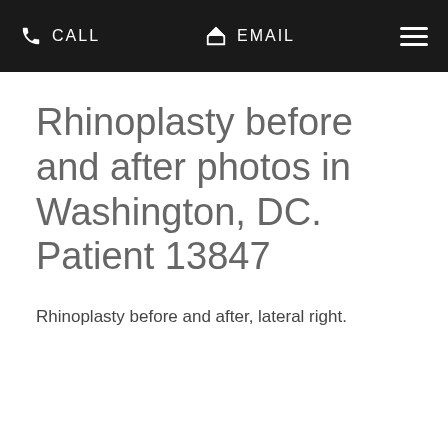CALL  EMAIL
Rhinoplasty before and after photos in Washington, DC. Patient 13847
Rhinoplasty before and after, lateral right.
Rhinoplasty before and after, lateral right.